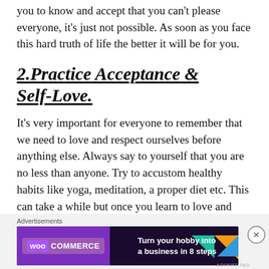should be the real reality. In this case it's important for you to know and accept that you can't please everyone, it's just not possible. As soon as you face this hard truth of life the better it will be for you.
2.Practice Acceptance & Self-Love.
It's very important for everyone to remember that we need to love and respect ourselves before anything else. Always say to yourself that you are no less than anyone. Try to accustom healthy habits like yoga, meditation, a proper diet etc. This can take a while but once you learn to love and accept yourself, you will gradually stop
Advertisements
[Figure (other): WooCommerce advertisement banner: 'Turn your hobby into a business in 8 steps']